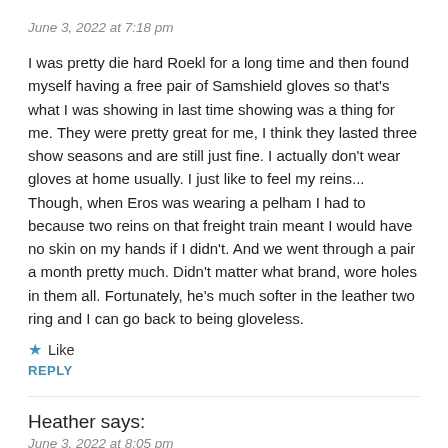June 3, 2022 at 7:18 pm
I was pretty die hard Roekl for a long time and then found myself having a free pair of Samshield gloves so that's what I was showing in last time showing was a thing for me. They were pretty great for me, I think they lasted three show seasons and are still just fine. I actually don't wear gloves at home usually. I just like to feel my reins... Though, when Eros was wearing a pelham I had to because two reins on that freight train meant I would have no skin on my hands if I didn't. And we went through a pair a month pretty much. Didn't matter what brand, wore holes in them all. Fortunately, he's much softer in the leather two ring and I can go back to being gloveless.
★ Like
REPLY
Heather says:
June 3, 2022 at 8:05 pm
My go-to are Mac Wet gloves, especially now that they have the